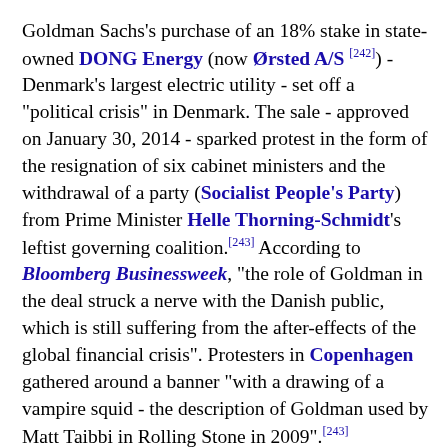Goldman Sachs's purchase of an 18% stake in state-owned DONG Energy (now Ørsted A/S [242]) - Denmark's largest electric utility - set off a "political crisis" in Denmark. The sale - approved on January 30, 2014 - sparked protest in the form of the resignation of six cabinet ministers and the withdrawal of a party (Socialist People's Party) from Prime Minister Helle Thorning-Schmidt's leftist governing coalition.[243] According to Bloomberg Businessweek, "the role of Goldman in the deal struck a nerve with the Danish public, which is still suffering from the after-effects of the global financial crisis". Protesters in Copenhagen gathered around a banner "with a drawing of a vampire squid - the description of Goldman used by Matt Taibbi in Rolling Stone in 2009".[243] Opponents expressed concern that Goldman would have some say in DONG's management, and that Goldman